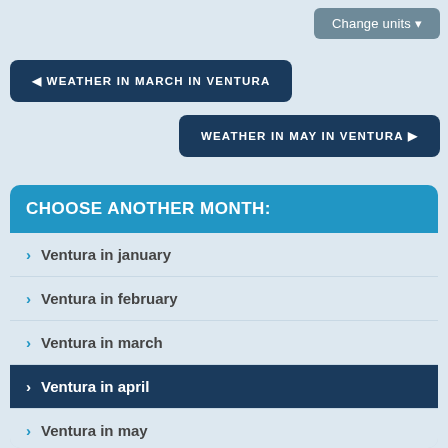Change units
WEATHER IN MARCH IN VENTURA
WEATHER IN MAY IN VENTURA
CHOOSE ANOTHER MONTH:
Ventura in january
Ventura in february
Ventura in march
Ventura in april
Ventura in may
Ventura in june